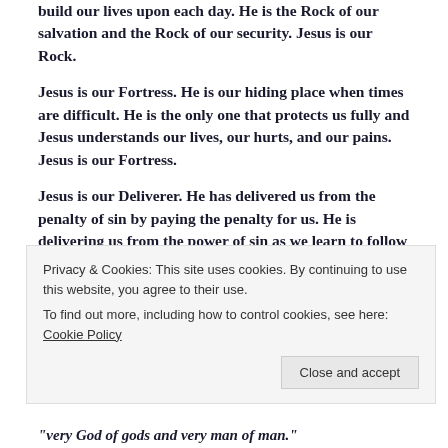build our lives upon each day. He is the Rock of our salvation and the Rock of our security. Jesus is our Rock.
Jesus is our Fortress. He is our hiding place when times are difficult. He is the only one that protects us fully and Jesus understands our lives, our hurts, and our pains. Jesus is our Fortress.
Jesus is our Deliverer. He has delivered us from the penalty of sin by paying the penalty for us. He is delivering us from the power of sin as we learn to follow Him each day. And, Jesus will ultimately deliver us from the
Privacy & Cookies: This site uses cookies. By continuing to use this website, you agree to their use.
To find out more, including how to control cookies, see here: Cookie Policy
“very God of gods and very man of man.”